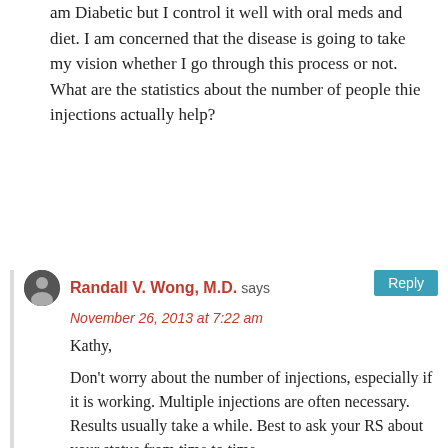am Diabetic but I control it well with oral meds and diet. I am concerned that the disease is going to take my vision whether I go through this process or not. What are the statistics about the number of people thie injections actually help?
Randall V. Wong, M.D. says
November 26, 2013 at 7:22 am
Kathy,

Don't worry about the number of injections, especially if it is working. Multiple injections are often necessary. Results usually take a while. Best to ask your RS about your status from time to time.

Randy
Randall V. Wong, M.D.
Retina Specialist
Fairfax, VA 22030
http://www.TotalRetina.com